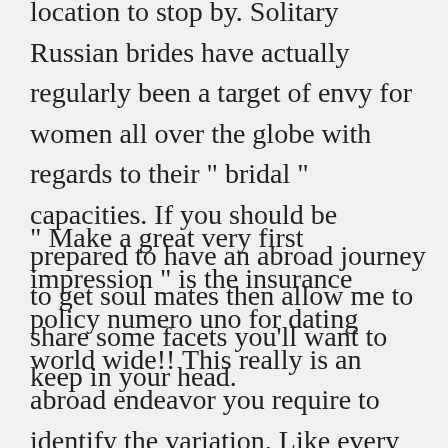location to stop by. Solitary Russian brides have actually regularly been a target of envy for women all over the globe with regards to their " bridal " capacities. If you should be prepared to have an abroad journey to get soul mates then allow me to share some facets you'll want to keep in your head.
" Make a great very first impression " is the insurance policy numero uno for dating world wide!! This really is an abroad endeavor you require to identify the variation. Like every single other nation Ukraine features its own social distinctions. Unlike in developed nations, where women protect their equalities and place in culture, the solitary Russian girlsare satisfied to be the traditional housewife along with carry the household as